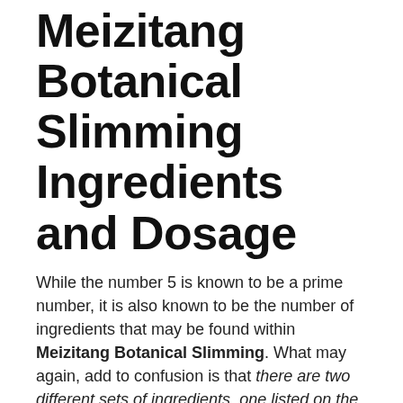Meizitang Botanical Slimming Ingredients and Dosage
While the number 5 is known to be a prime number, it is also known to be the number of ingredients that may be found within Meizitang Botanical Slimming. What may again, add to confusion is that there are two different sets of ingredients, one listed on the home page and one listed on a completely separate page. Of these two, I opt to talk about the one on the separate page, as at least there, the is more information that is given. On the homepage there are ingredients that are simply mentioned and nothing more
Of the substances that make up the ingredients of